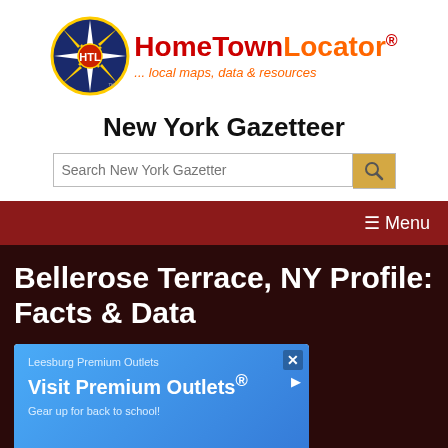[Figure (logo): HomeTownLocator logo with compass rose circle and text 'HomeTownLocator® ... local maps, data & resources']
New York Gazetteer
[Figure (screenshot): Search bar with placeholder 'Search New York Gazetteer' and orange magnifying glass button]
☰ Menu
Bellerose Terrace, NY Profile: Facts & Data
[Figure (screenshot): Advertisement for Leesburg Premium Outlets: 'Visit Premium Outlets® Gear up for back to school!' with map strip showing 'Suites Leesburg']